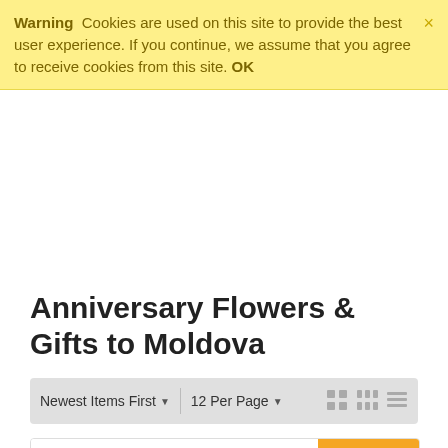Warning  Cookies are used on this site to provide the best user experience. If you continue, we assume that you agree to receive cookies from this site. OK
Anniversary Flowers & Gifts to Moldova
Newest Items First  12 Per Page
[Figure (photo): A large bouquet of mixed colorful roses (red, pink, orange, yellow, white) with a Save 24% badge in the top-right corner of the product card]